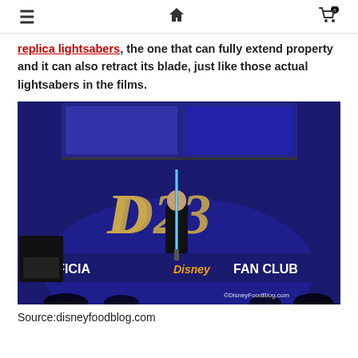≡  🏠  🛒 0
replica lightsabers, the one that can fully extend property and it can also retract its blade, just like those actual lightsabers in the films.
[Figure (photo): Person on stage at D23 Official Disney Fan Club event holding a lit blue lightsaber, with D23 logo backdrop. Watermark: ©DisneyFoodBlog.com]
Source:disneyfoodblog.com